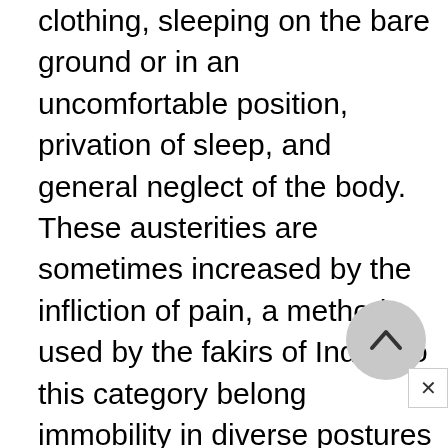clothing, sleeping on the bare ground or in an uncomfortable position, privation of sleep, and general neglect of the body. These austerities are sometimes increased by the infliction of pain, a method used by the fakirs of India. To this category belong immobility in diverse postures of the body, self-laceration, and other kinds of self-torture. The highest expression of non-Christian asceticism is found in spiritual exercises. They include such observances as silence, the